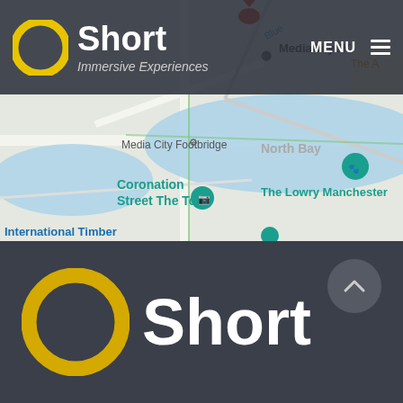[Figure (screenshot): Google Maps screenshot showing Salford Quays / MediaCityUK area with Coronation Street The Tour and The Lowry Manchester markers, with a dark overlay navigation bar at top]
[Figure (logo): O Short Immersive Experiences logo — yellow ring circle with white text brand name in navigation bar]
MENU
[Figure (logo): Large O Short logo on dark grey background — large yellow ring circle with large white 'Short' text]